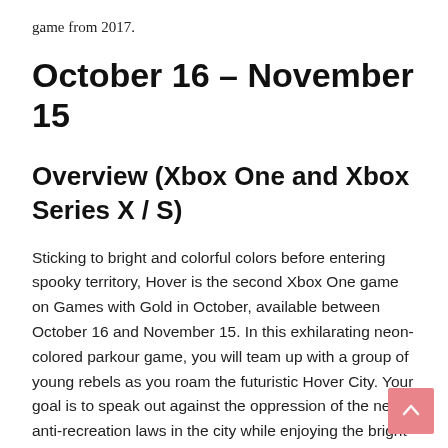game from 2017.
October 16 – November 15
Overview (Xbox One and Xbox Series X / S)
Sticking to bright and colorful colors before entering spooky territory, Hover is the second Xbox One game on Games with Gold in October, available between October 16 and November 15. In this exhilarating neon-colored parkour game, you will team up with a group of young rebels as you roam the futuristic Hover City. Your goal is to speak out against the oppression of the new anti-recreation laws in the city while enjoying the bright views of your surroundings.
October 1 – 15